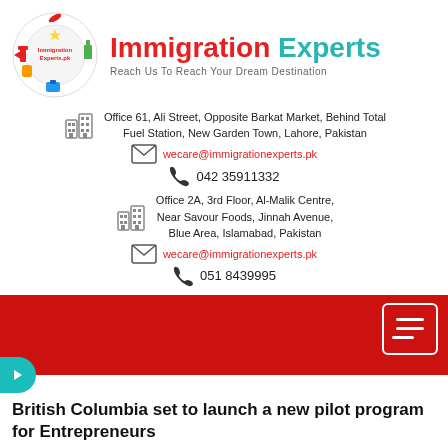[Figure (logo): Immigration Experts logo — circular badge with world landmarks and travel icons, text 'Immigration Experts.pk' in center]
Immigration Experts
Reach Us To Reach Your Dream Destination
Office 61, Ali Street, Opposite Barkat Market, Behind Total Fuel Station, New Garden Town, Lahore, Pakistan
wecare@immigrationexperts.pk
042 35911332
Office 2A, 3rd Floor, Al-Malik Centre, Near Savour Foods, Jinnah Avenue, Blue Area, Islamabad, Pakistan
wecare@immigrationexperts.pk
051 8439995
British Columbia set to launch a new pilot program for Entrepreneurs